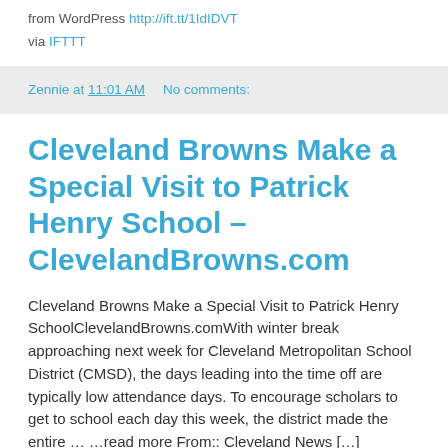from WordPress http://ift.tt/1IdIDVT
via IFTTT
Zennie at 11:01 AM    No comments:
Cleveland Browns Make a Special Visit to Patrick Henry School – ClevelandBrowns.com
Cleveland Browns Make a Special Visit to Patrick Henry SchoolClevelandBrowns.comWith winter break approaching next week for Cleveland Metropolitan School District (CMSD), the days leading into the time off are typically low attendance days. To encourage scholars to get to school each day this week, the district made the entire … …read more From:: Cleveland News […]
from WordPress http://ift.tt/1ms1JO7
via IFTTT